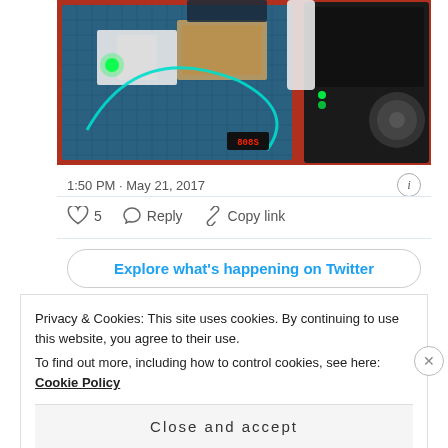[Figure (photo): Electronics workbench photo showing a blue cutting mat with breadboard circuits, green LEDs, teal cables, a small red LED display, and a multimeter on the right side, all on a red surface.]
1:50 PM · May 21, 2017
♡ 5   Reply   Copy link
Explore what's happening on Twitter
Privacy & Cookies: This site uses cookies. By continuing to use this website, you agree to their use.
To find out more, including how to control cookies, see here: Cookie Policy
Close and accept